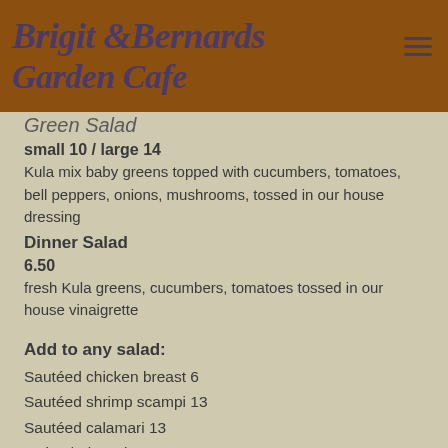Brigit & Bernards Garden Cafe
Green Salad
small 10 / large 14
Kula mix baby greens topped with cucumbers, tomatoes, bell peppers, onions, mushrooms, tossed in our house dressing
Dinner Salad
6.50
fresh Kula greens, cucumbers, tomatoes tossed in our house vinaigrette
Add to any salad:
Sautéed chicken breast 6
Sautéed shrimp scampi 13
Sautéed calamari 13
Swiss / Blue Cheese 3.50